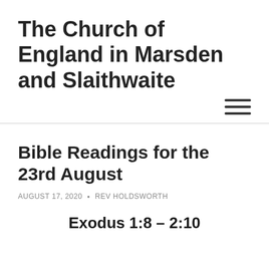The Church of England in Marsden and Slaithwaite
Bible Readings for the 23rd August
AUGUST 17, 2020 • REV HOLDSWORTH
Exodus 1:8 – 2:10